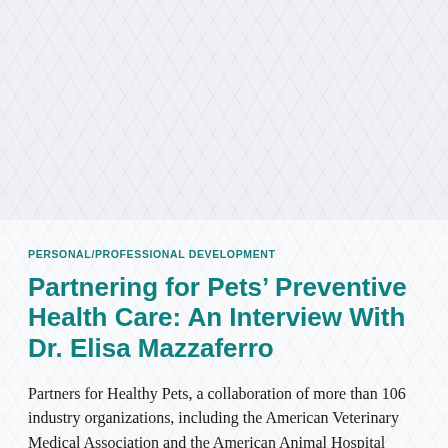PERSONAL/PROFESSIONAL DEVELOPMENT
Partnering for Pets’ Preventive Health Care: An Interview With Dr. Elisa Mazzaferro
Partners for Healthy Pets, a collaboration of more than 106 industry organizations, including the American Veterinary Medical Association and the American Animal Hospital Association, is working to...